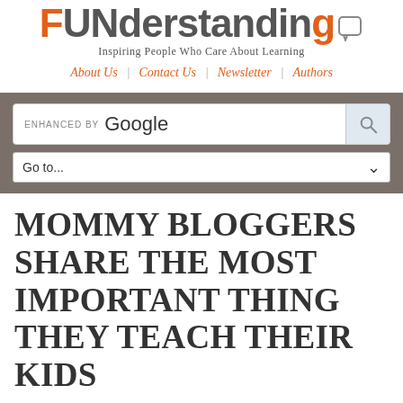FUNderstanding – Inspiring People Who Care About Learning
About Us | Contact Us | Newsletter | Authors
[Figure (screenshot): Google search bar with 'ENHANCED BY Google' label and search button, plus a 'Go to...' dropdown below, on a gray background]
MOMMY BLOGGERS SHARE THE MOST IMPORTANT THING THEY TEACH THEIR KIDS